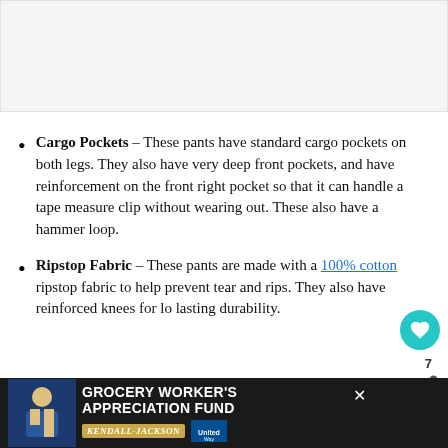[Figure (photo): Top image area — product image (cropped/not visible)]
Cargo Pockets – These pants have standard cargo pockets on both legs. They also have very deep front pockets, and have reinforcement on the front right pocket so that it can handle a tape measure clip without wearing out. These also have a hammer loop.
Ripstop Fabric – These pants are made with a 100% cotton ripstop fabric to help prevent tears and rips. They also have reinforced knees for long lasting durability.
[Figure (photo): Advertisement banner: Grocery Worker's Appreciation Fund — Kendall Jackson, United Way logos]